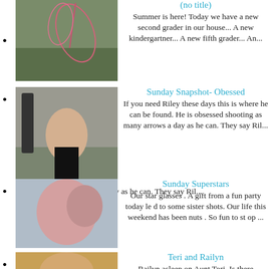(no title) — Summer is here! Today we have a new second grader in our house... A new kindergartner... A new fifth grader... An...
Sunday Snapshot- Obessed — If you need Riley these days this is where he can be found.  He is obsessed shooting as many arrows a day as he can.   They say Ril...
Sunday Superstars — Our star glasses . A gift from a fun party today le d to some sister shots. Our life this weekend has been nuts .  So fun to st op ...
Teri and Railyn — Railyn asleep on Aunt Tori. Is there anything...